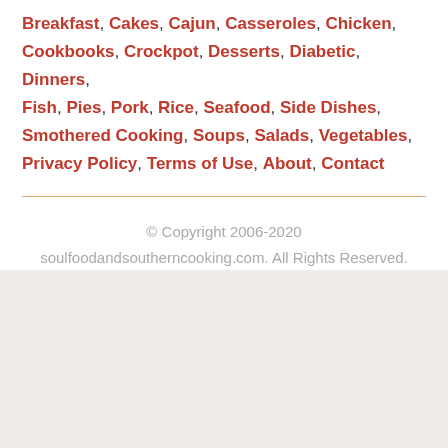Breakfast, Cakes, Cajun, Casseroles, Chicken, Cookbooks, Crockpot, Desserts, Diabetic, Dinners, Fish, Pies, Pork, Rice, Seafood, Side Dishes, Smothered Cooking, Soups, Salads, Vegetables, Privacy Policy, Terms of Use, About, Contact
© Copyright 2006-2020 soulfoodandsoutherncooking.com. All Rights Reserved.